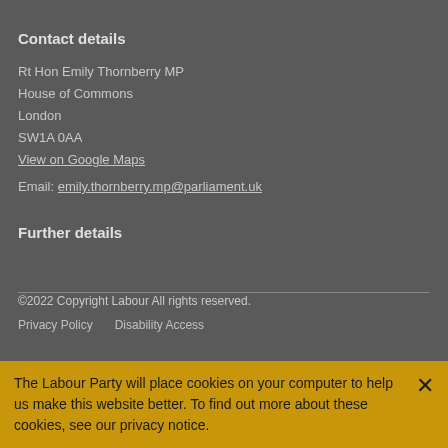Contact details
Rt Hon Emily Thornberry MP
House of Commons
London
SW1A 0AA
View on Google Maps
Email: emily.thornberry.mp@parliament.uk
Further details
©2022 Copyright Labour All rights reserved.
Privacy Policy   Disability Access
The Labour Party will place cookies on your computer to help us make this website better. To find out more about these cookies, see our privacy notice.